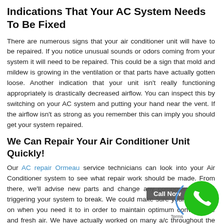Indications That Your AC System Needs To Be Fixed
There are numerous signs that your air conditioner unit will have to be repaired. If you notice unusual sounds or odors coming from your system it will need to be repaired. This could be a sign that mold and mildew is growing in the ventilation or that parts have actually gotten loose. Another indication that your unit isn't really functioning appropriately is drastically decreased airflow. You can inspect this by switching on your AC system and putting your hand near the vent. If the airflow isn't as strong as you remember this can imply you should get your system repaired.
We Can Repair Your Air Conditioner Unit Quickly!
Our AC repair Ormeau service technicians can look into your Air Conditioner system to see what repair work should be made. From there, we'll advise new parts and change any component that is triggering your system to break. We could make sure your A/C kicks on when you need it to in order to maintain optimum convenience and fresh air. We have actually worked on many a/c throughout the years, and we're confident in our ability to find service.